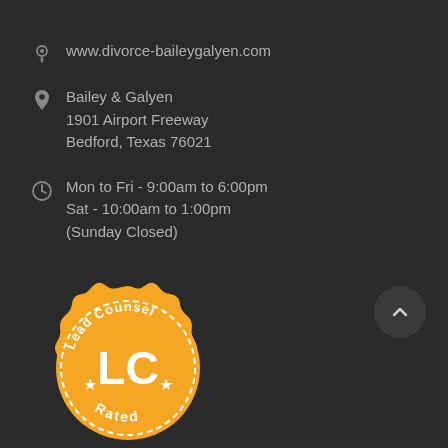www.divorce-baileygalyen.com
Bailey & Galyen
1901 Airport Freeway
Bedford, Texas 76021
Mon to Fri - 9:00am to 6:00pm
Sat - 10:00am to 1:00pm
(Sunday Closed)
[Figure (logo): Lead Counsel LC Rated badge - orange circular seal with dashed border, stars, and LC text]